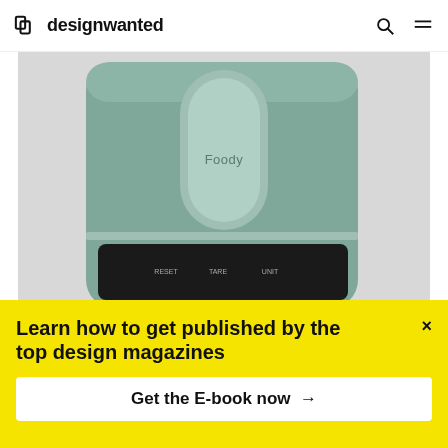designwanted
[Figure (photo): Top-down view of a muted teal/grey Foody food scale device with a rounded pill-shaped probe/sensor and a dark display screen showing small text buttons at the bottom]
© Da-yeon Choi
Foody: Weighing up the future of
Learn how to get published by the top design magazines
Get the E-book now →